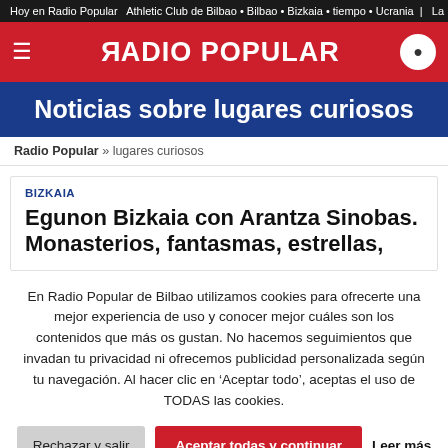Hoy en Radio Popular  Athletic Club de Bilbao • Bilbao • Bizkaia • tiempo • Ucrania  |  La
[Figure (logo): Radio Popular website header with red background, hamburger menu icon, mirrored R logo text 'RADIO POPULAR', and circular search button]
Noticias sobre lugares curiosos
Radio Popular » lugares curiosos
BIZKAIA
Egunon Bizkaia con Arantza Sinobas. Monasterios, fantasmas, estrellas,
En Radio Popular de Bilbao utilizamos cookies para ofrecerte una mejor experiencia de uso y conocer mejor cuáles son los contenidos que más os gustan. No hacemos seguimientos que invadan tu privacidad ni ofrecemos publicidad personalizada según tu navegación. Al hacer clic en 'Aceptar todo', aceptas el uso de TODAS las cookies.
Rechazar y salir  Aceptar todas y continuar  Leer más